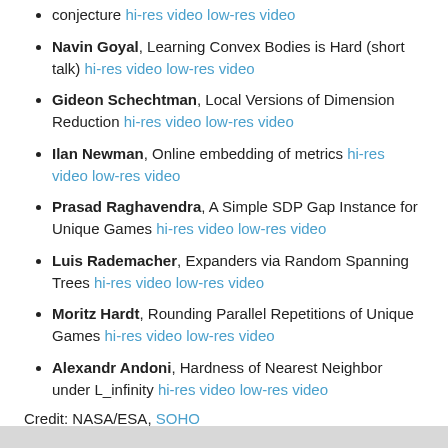conjecture hi-res video low-res video
Navin Goyal, Learning Convex Bodies is Hard (short talk) hi-res video low-res video
Gideon Schechtman, Local Versions of Dimension Reduction hi-res video low-res video
Ilan Newman, Online embedding of metrics hi-res video low-res video
Prasad Raghavendra, A Simple SDP Gap Instance for Unique Games hi-res video low-res video
Luis Rademacher, Expanders via Random Spanning Trees hi-res video low-res video
Moritz Hardt, Rounding Parallel Repetitions of Unique Games hi-res video low-res video
Alexandr Andoni, Hardness of Nearest Neighbor under L_infinity hi-res video low-res video
Credit: NASA/ESA, SOHO